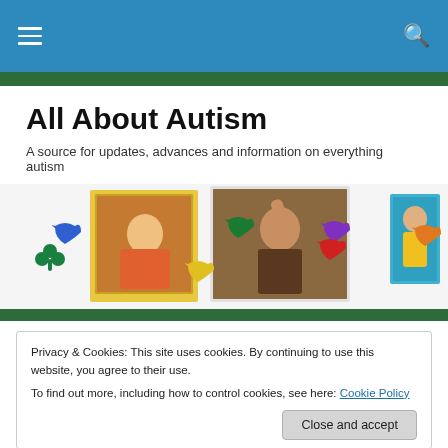All About Autism — site navigation header
All About Autism
A source for updates, advances and information on everything autism
[Figure (photo): Banner collage with autism puzzle piece symbols in blue, green, yellow, red, purple, orange and two photos of children]
Privacy & Cookies: This site uses cookies. By continuing to use this website, you agree to their use.
To find out more, including how to control cookies, see here: Cookie Policy
have much to be thankful for. The poet, Ralph Waldo